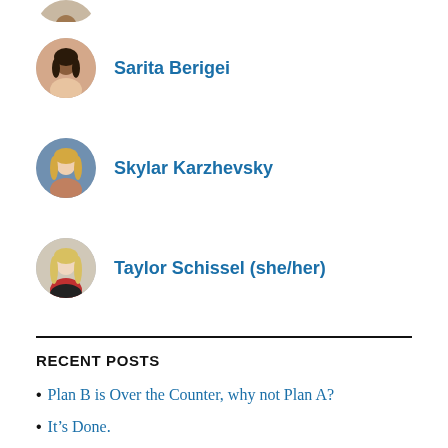[Figure (photo): Partial avatar of a person, cropped at top]
Sarita Berigei
Skylar Karzhevsky
Taylor Schissel (she/her)
RECENT POSTS
Plan B is Over the Counter, why not Plan A?
It's Done.